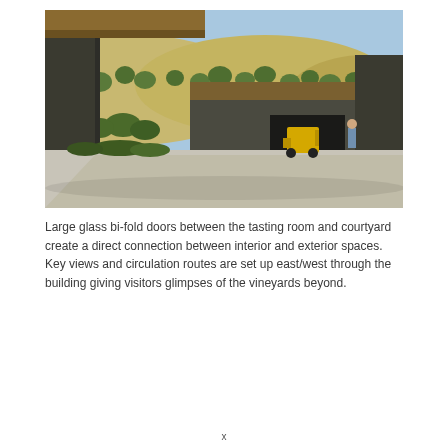[Figure (photo): Exterior courtyard of a winery building with dark metal cladding and flat roof with wood soffit overhang. A yellow forklift is visible near a large open doorway. A person walks toward the entrance. Background shows dry golden hills with scattered trees under a blue sky. Foreground is a wide concrete pad.]
Large glass bi-fold doors between the tasting room and courtyard create a direct connection between interior and exterior spaces. Key views and circulation routes are set up east/west through the building giving visitors glimpses of the vineyards beyond.
x